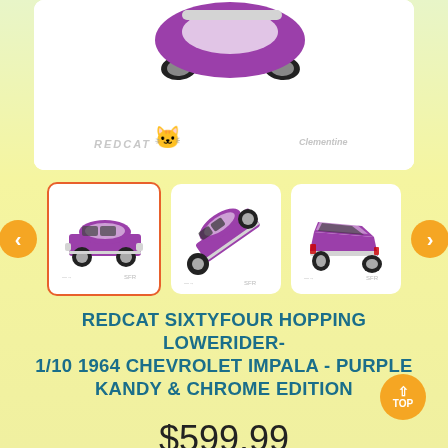[Figure (photo): Main product image of a purple 1964 Chevrolet Impala lowrider RC car on white background, shown from above/front angle. Redcat logo and decorative brand logo visible at bottom of image box.]
[Figure (photo): Thumbnail gallery showing three views of the purple Chevrolet Impala lowrider: (1) side view - selected with orange border, (2) hopping/raised front view, (3) rear three-quarter view. Navigation arrows (previous/next) on left and right.]
REDCAT SIXTYFOUR HOPPING LOWERIDER- 1/10 1964 CHEVROLET IMPALA - PURPLE KANDY & CHROME EDITION
$599.99